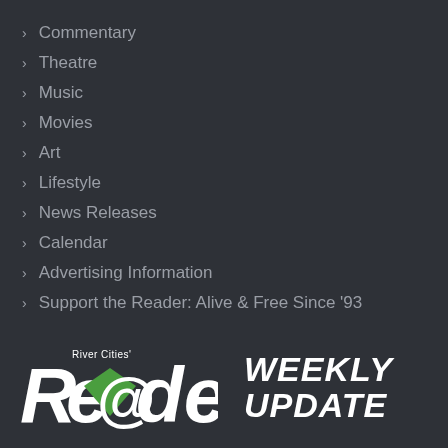Commentary
Theatre
Music
Movies
Art
Lifestyle
News Releases
Calendar
Advertising Information
Support the Reader: Alive & Free Since '93
[Figure (logo): River Cities' Reader Weekly Update logo — stylized 'Re@der' wordmark with green diamond shape behind the @ symbol, followed by bold italic 'WEEKLY UPDATE' text]
The River Cities' Reader, started in 1993, is independently and